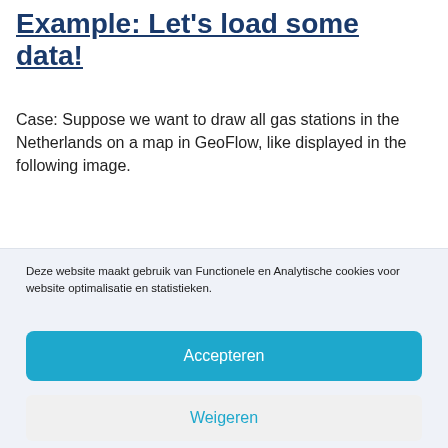Example: Let's load some data!
Case: Suppose we want to draw all gas stations in the Netherlands on a map in GeoFlow, like displayed in the following image.
Deze website maakt gebruik van Functionele en Analytische cookies voor website optimalisatie en statistieken.
Accepteren
Weigeren
Voorkeuren
Cookiebeleid  Privacyverklaring